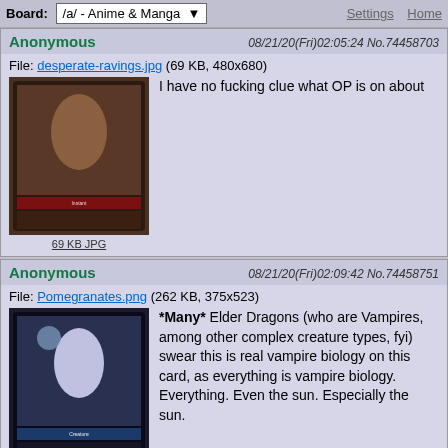Board: /a/ - Anime & Manga  Settings  Home
Anonymous  08/21/20(Fri)02:05:24 No.74458703
File: desperate-ravings.jpg (69 KB, 480x680)
[Figure (photo): Thumbnail of desperate-ravings.jpg, a Magic: The Gathering card]
I have no fucking clue what OP is on about
69 KB JPG
Anonymous  08/21/20(Fri)02:09:42 No.74458751
File: Pomegranates.png (262 KB, 375x523)
[Figure (photo): Thumbnail of Pomegranates.png, a Magic: The Gathering card]
*Many* Elder Dragons (who are Vampires, among other complex creature types, fyi) swear this is real vampire biology on this card, as everything is vampire biology. Everything. Even the sun. Especially the sun.
262 KB PNG
Anonymous  08/21/20(Fri)02:11:32 No.74458773
File: Chancellor of Owls.png (257 KB, 375x523)
[Figure (photo): Thumbnail of Chancellor of Owls.png, a Magic: The Gathering card]
>>74458703